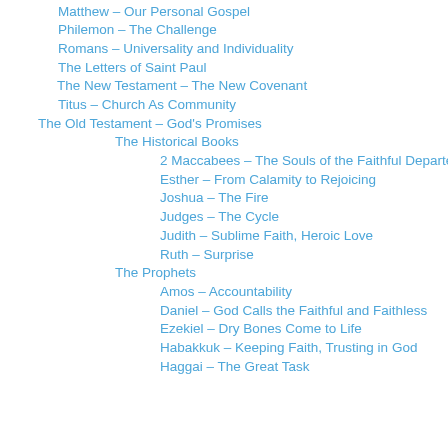Matthew – Our Personal Gospel
Philemon – The Challenge
Romans – Universality and Individuality
The Letters of Saint Paul
The New Testament – The New Covenant
Titus – Church As Community
The Old Testament – God's Promises
The Historical Books
2 Maccabees – The Souls of the Faithful Departed
Esther – From Calamity to Rejoicing
Joshua – The Fire
Judges – The Cycle
Judith – Sublime Faith, Heroic Love
Ruth – Surprise
The Prophets
Amos – Accountability
Daniel – God Calls the Faithful and Faithless
Ezekiel – Dry Bones Come to Life
Habakkuk – Keeping Faith, Trusting in God
Haggai – The Great Task